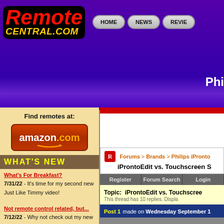[Figure (screenshot): RemoteCentral.com website header with logo, navigation buttons (HOME, NEWS, REVIE...), purple gradient bar, and partial text 'Phi']
[Figure (logo): Amazon.com red button with orange arrow logo]
Find remotes at:
WHAT'S NEW
What's For Breakfast?
7/31/22 - It's time for my second new Just Like Timmy video!
Not remote control related, but...
7/12/22 - Why not check out my new YouTube animation channel, Just Like Timmy!
Forums > Brands > Philips iPronto
iProntoEdit vs. Touchscreen S
Register  Forum Search  Login
Topic:  iProntoEdit vs. Touchscree
This thread has 10 replies. Displa
Post 1 made on Wednesday September 1